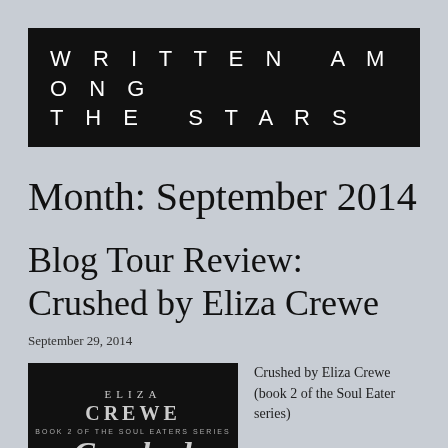WRITTEN AMONG THE STARS
Month: September 2014
Blog Tour Review: Crushed by Eliza Crewe
September 29, 2014
[Figure (illustration): Book cover of Crushed by Eliza Crewe, Book 2 of the Soul Eaters Series, dark background with stylized title text]
Crushed by Eliza Crewe (book 2 of the Soul Eater series)